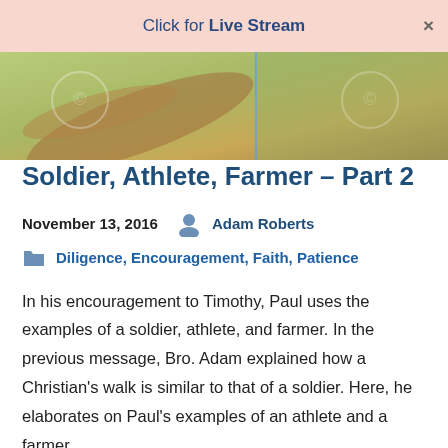Click for Live Stream
[Figure (photo): Close-up photo of hands/arms on a green field background, split by a vertical line]
Soldier, Athlete, Farmer – Part 2
November 13, 2016   Adam Roberts
Diligence, Encouragement, Faith, Patience
In his encouragement to Timothy, Paul uses the examples of a soldier, athlete, and farmer. In the previous message, Bro. Adam explained how a Christian's walk is similar to that of a soldier. Here, he elaborates on Paul's examples of an athlete and a farmer.